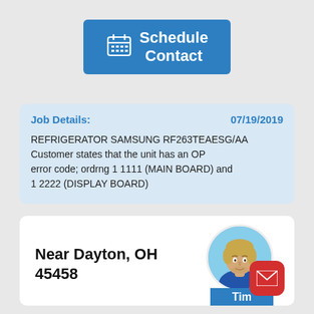[Figure (screenshot): Blue 'Schedule Contact' button with calendar icon]
Job Details:   07/19/2019
REFRIGERATOR SAMSUNG RF263TEAESG/AA Customer states that the unit has an OP error code; ordrng 1 1111 (MAIN BOARD) and 1 2222 (DISPLAY BOARD)
Near Dayton, OH 45458
[Figure (photo): Profile photo of Tim, a young man with blonde hair]
Tim